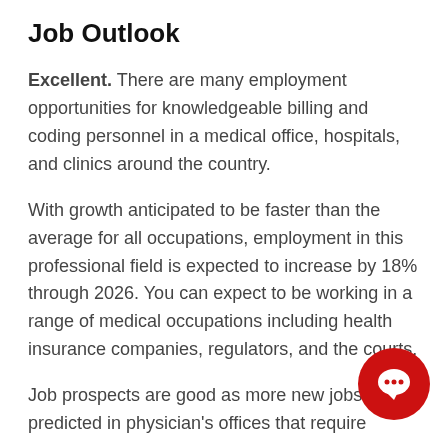Job Outlook
Excellent. There are many employment opportunities for knowledgeable billing and coding personnel in a medical office, hospitals, and clinics around the country.
With growth anticipated to be faster than the average for all occupations, employment in this professional field is expected to increase by 18% through 2026. You can expect to be working in a range of medical occupations including health insurance companies, regulators, and the courts.
Job prospects are good as more new jobs predicted in physician's offices that require...